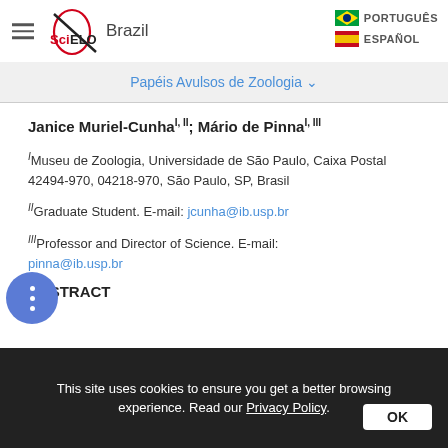[Figure (logo): SciELO Brazil logo with hamburger menu icon]
PORTUGUÊS
ESPAÑOL
Papéis Avulsos de Zoologia
Janice Muriel-Cunha^(I, II); Mário de Pinna^(I, III)
^I Museu de Zoologia, Universidade de São Paulo, Caixa Postal 42494-970, 04218-970, São Paulo, SP, Brasil
^II Graduate Student. E-mail: jcunha@ib.usp.br
^III Professor and Director of Science. E-mail: pinna@ib.usp.br
ABSTRACT
This site uses cookies to ensure you get a better browsing experience. Read our Privacy Policy.